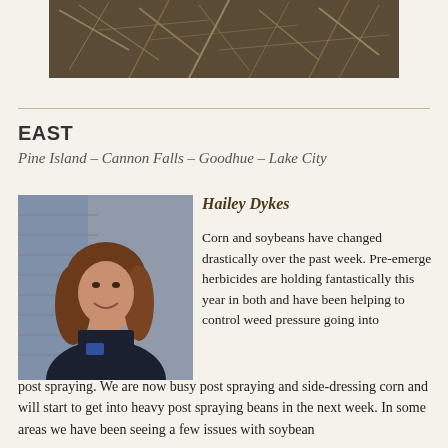[Figure (photo): Aerial photo of dried corn stalks and crop debris on dark soil]
EAST
Pine Island – Cannon Falls – Goodhue – Lake City
[Figure (photo): Portrait photo of Hailey Dykes, a young woman smiling, wearing a dark polo shirt, standing outdoors]
Hailey Dykes
Corn and soybeans have changed drastically over the past week. Pre-emerge herbicides are holding fantastically this year in both and have been helping to control weed pressure going into post spraying. We are now busy post spraying and side-dressing corn and will start to get into heavy post spraying beans in the next week. In some areas we have been seeing a few issues with soybean